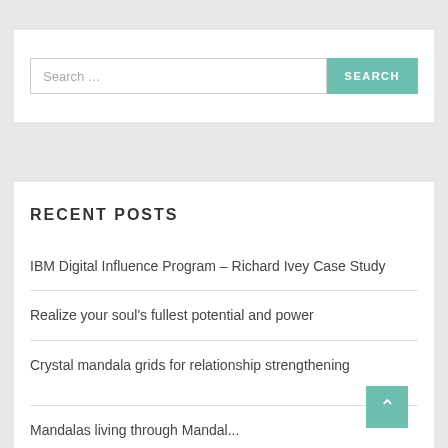Search ...
RECENT POSTS
IBM Digital Influence Program – Richard Ivey Case Study
Realize your soul's fullest potential and power
Crystal mandala grids for relationship strengthening
Mandalas living through Mandala...